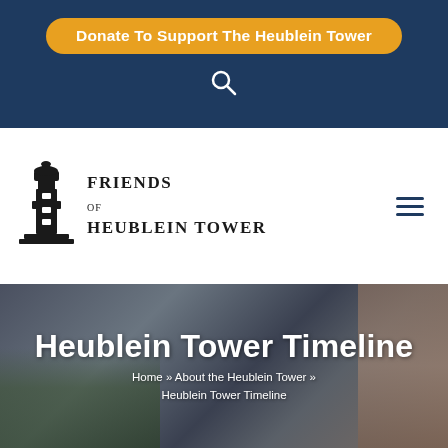Donate To Support The Heublein Tower
[Figure (logo): Friends of Heublein Tower logo with tower illustration and organization name]
Heublein Tower Timeline
Home » About the Heublein Tower » Heublein Tower Timeline